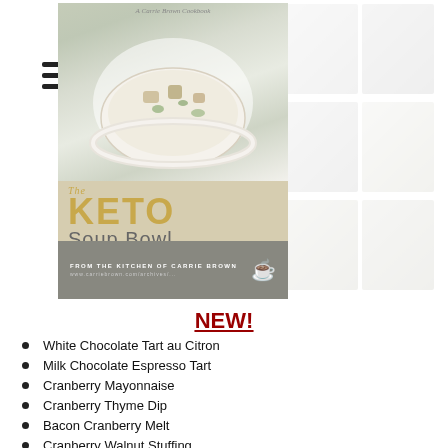[Figure (illustration): Book cover for 'The Keto Soup Bowl' by Carrie Brown, showing a bowl of creamy soup with vegetables, with title text in gold and gray]
NEW!
White Chocolate Tart au Citron
Milk Chocolate Espresso Tart
Cranberry Mayonnaise
Cranberry Thyme Dip
Bacon Cranberry Melt
Cranberry Walnut Stuffing